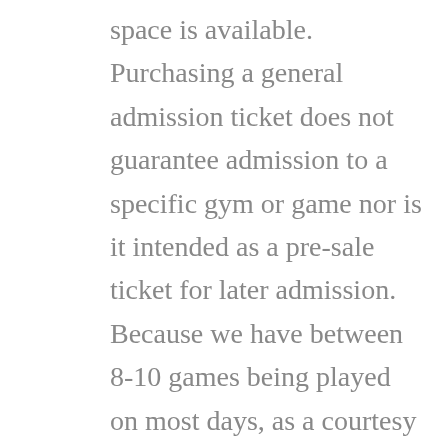space is available. Purchasing a general admission ticket does not guarantee admission to a specific gym or game nor is it intended as a pre-sale ticket for later admission. Because we have between 8-10 games being played on most days, as a courtesy to our fans, a general admission ticket is good for the entire day but there is no guarantee of re-admittance if you leave and both gyms are full upon your return. Everyone purchasing a general admission ticket before 6 pm will have